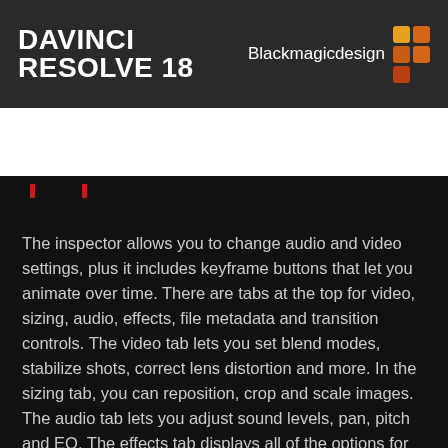DAVINCI RESOLVE 18 — Blackmagicdesign
[Figure (screenshot): Navigation bar showing Cut dropdown, Log In button with cloud icon, settings gear icon and dropdown chevron]
The inspector allows you to change audio and video settings, plus it includes keyframe buttons that let you animate over time. There are tabs at the top for video, sizing, audio, effects, file metadata and transition controls. The video tab lets you set blend modes, stabilize shots, correct lens distortion and more. In the sizing tab, you can reposition, crop and scale images. The audio tab lets you adjust sound levels, pan, pitch and EQ. The effects tab displays all of the options for effects you've applied and the file tab lets you edit and view clip metadata, as well as access RAW image controls.